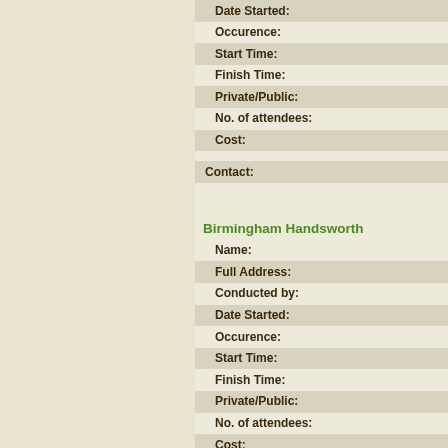| Date Started: |
| Occurence: |
| Start Time: |
| Finish Time: |
| Private/Public: |
| No. of attendees: |
| Cost: |
| Contact: |
Birmingham Handsworth
| Name: |
| Full Address: |
| Conducted by: |
| Date Started: |
| Occurence: |
| Start Time: |
| Finish Time: |
| Private/Public: |
| No. of attendees: |
| Cost: |
| Contact: |
| Name: |
| Full Address: |